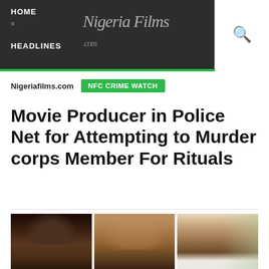HOME  HEADLINES  NigeriaFilms.com
Nigeriafilms.com  NFC CRIME WATCH
Movie Producer in Police Net for Attempting to Murder corps Member For Rituals
[Figure (photo): Three photos side by side of individuals involved in the story]